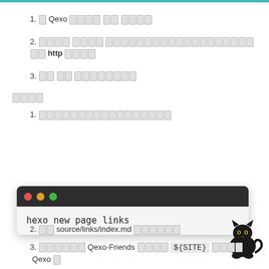1. 在 Qexo 管理面板 中 如下图
2. 填写您 友链页面所在的相对路径（不含http 部分）
3. 其他 设置 根据需求填写
准备工作
1. 准备好您想要添加到友链页面的
[Figure (screenshot): Terminal window showing command: hexo new page links]
2. 打开 source/links/index.md 进行编辑
3. 参考下面 Qexo-Friends 格式 将 ${SITE} 替换为 Qexo 的